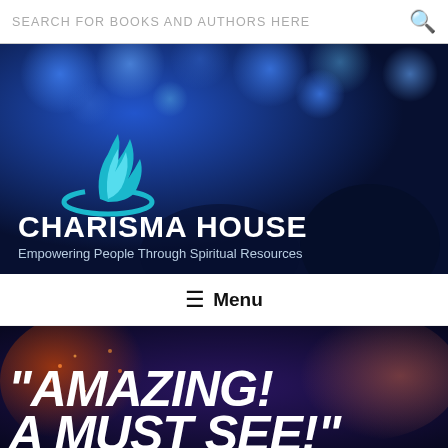SEARCH FOR BOOKS AND AUTHORS HERE
[Figure (screenshot): Charisma House website hero banner with blue bokeh concert background, flame logo, title CHARISMA HOUSE and subtitle Empowering People Through Spiritual Resources]
CHARISMA HOUSE
Empowering People Through Spiritual Resources
≡ Menu
[Figure (screenshot): Promotional banner with dark blue/purple background showing fireworks and text AMAZING! A MUST SEE!]